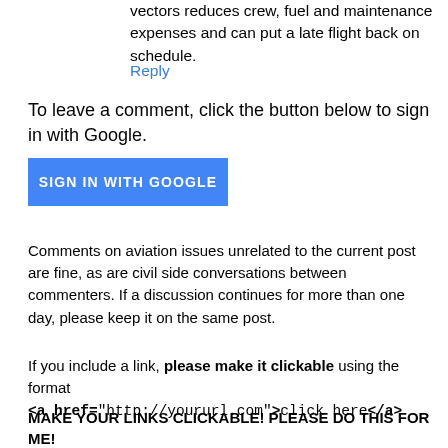vectors reduces crew, fuel and maintenance expenses and can put a late flight back on schedule.
Reply
To leave a comment, click the button below to sign in with Google.
[Figure (other): Blue button labeled SIGN IN WITH GOOGLE]
Comments on aviation issues unrelated to the current post are fine, as are civil side conversations between commenters. If a discussion continues for more than one day, please keep it on the same post.
If you include a link, please make it clickable using the format <a href="http://yoururl.com">click here</a>
MAKE YOUR LINKS CLICKABLE! PLEASE DO THIS FOR ME!